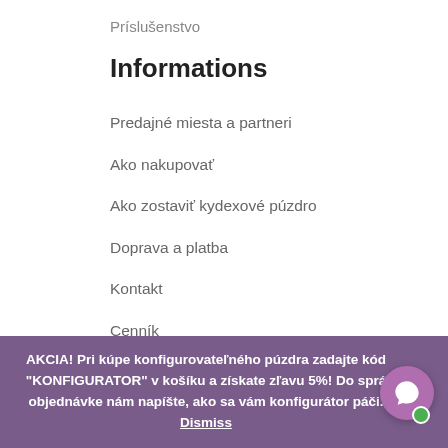Príslušenstvo
Informations
Predajné miesta a partneri
Ako nakupovať
Ako zostaviť kydexové púzdro
Doprava a platba
Kontakt
Cenník
Zoznam dostupných zbraní, zásobníkov a svietidiel
FAQ – Často kladené otázky
Obchodné podmienky
AKCIA! Pri kúpe konfigurovateľného púzdra zadajte kód "KONFIGURATOR" v košíku a získate zľavu 5%! Do správy o objednávke nám napíšte, ako sa vám konfigurátor páči. Dismiss